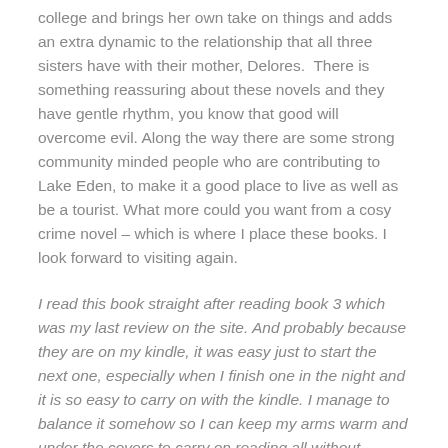college and brings her own take on things and adds an extra dynamic to the relationship that all three sisters have with their mother, Delores.  There is something reassuring about these novels and they have gentle rhythm, you know that good will overcome evil. Along the way there are some strong community minded people who are contributing to Lake Eden, to make it a good place to live as well as be a tourist. What more could you want from a cosy crime novel – which is where I place these books. I look forward to visiting again.
I read this book straight after reading book 3 which was my last review on the site. And probably because they are on my kindle, it was easy just to start the next one, especially when I finish one in the night and it is so easy to carry on with the kindle. I manage to balance it somehow so I can keep my arms warm and under the covers to carry on reading all without having to turn the page. I am not sure